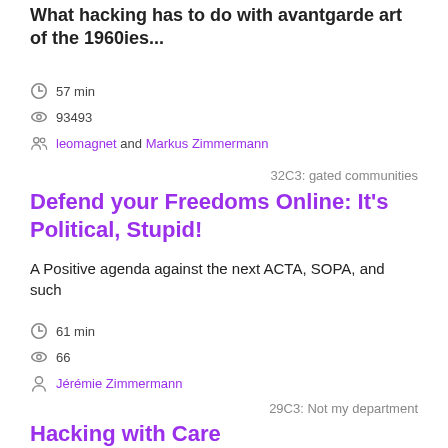What hacking has to do with avantgarde art of the 1960ies...
57 min
93493
leomagnet and Markus Zimmermann
32C3: gated communities
Defend your Freedoms Online: It's Political, Stupid!
A Positive agenda against the next ACTA, SOPA, and such
61 min
66
Jérémie Zimmermann
29C3: Not my department
Hacking with Care